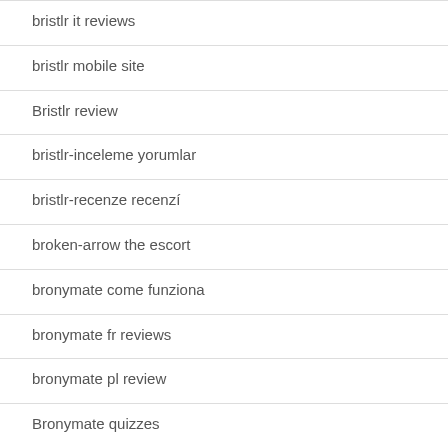bristlr it reviews
bristlr mobile site
Bristlr review
bristlr-inceleme yorumlar
bristlr-recenze recenzí
broken-arrow the escort
bronymate come funziona
bronymate fr reviews
bronymate pl review
Bronymate quizzes
Bronymate siti incontri single